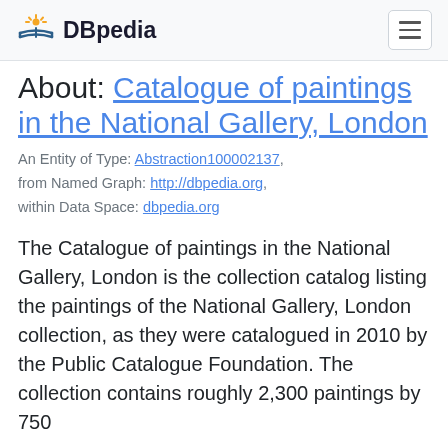DBpedia
About: Catalogue of paintings in the National Gallery, London
An Entity of Type: Abstraction100002137, from Named Graph: http://dbpedia.org, within Data Space: dbpedia.org
The Catalogue of paintings in the National Gallery, London is the collection catalog listing the paintings of the National Gallery, London collection, as they were catalogued in 2010 by the Public Catalogue Foundation. The collection contains roughly 2,300 paintings by 750